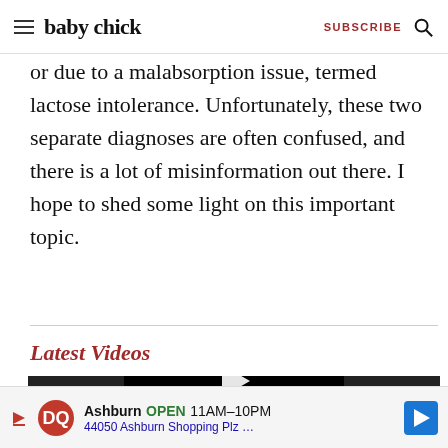baby chick | SUBSCRIBE
or due to a malabsorption issue, termed lactose intolerance. Unfortunately, these two separate diagnoses are often confused, and there is a lot of misinformation out there. I hope to shed some light on this important topic.
Latest Videos
[Figure (screenshot): Video player showing a black screen with a play button icon and text 'The video cannot be']
Ashburn OPEN 11AM–10PM 44050 Ashburn Shopping Plz …